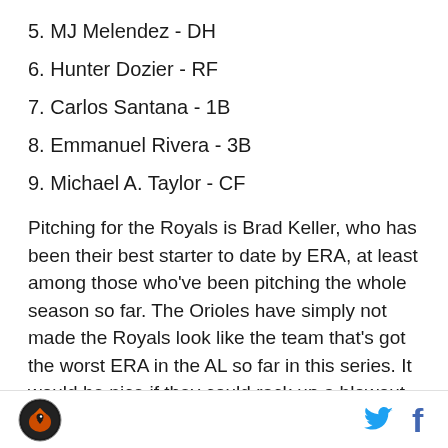5. MJ Melendez - DH
6. Hunter Dozier - RF
7. Carlos Santana - 1B
8. Emmanuel Rivera - 3B
9. Michael A. Taylor - CF
Pitching for the Royals is Brad Keller, who has been their best starter to date by ERA, at least among those who’ve been pitching the whole season so far. The Orioles have simply not made the Royals look like the team that's got the worst ERA in the AL so far in this series. It would be nice if they could rack up a blowout
SB Nation logo, Twitter icon, Facebook icon